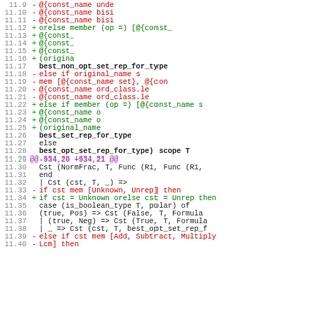[Figure (screenshot): Code diff view showing lines 11.9 through 11.40 of a source file with added (green), deleted (red), and neutral lines, hunk header in purple.]